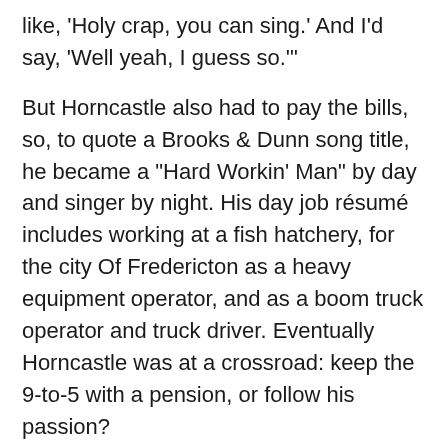like, 'Holy crap, you can sing.' And I'd say, 'Well yeah, I guess so.'"
But Horncastle also had to pay the bills, so, to quote a Brooks & Dunn song title, he became a "Hard Workin' Man" by day and singer by night. His day job résumé includes working at a fish hatchery, for the city Of Fredericton as a heavy equipment operator, and as a boom truck operator and truck driver. Eventually Horncastle was at a crossroad: keep the 9-to-5 with a pension, or follow his passion?
"I met with the mayor of Fredericton," recalls Horncastle, "and said, 'I want to do music, but I don't want to lose my full-time pension job. I don't want to walk away and throw everything out the door.' He called me over to his desk and pulled up a video on YouTube of his band. Turns out he's performed his whole life. He said, 'I think you need to chase your